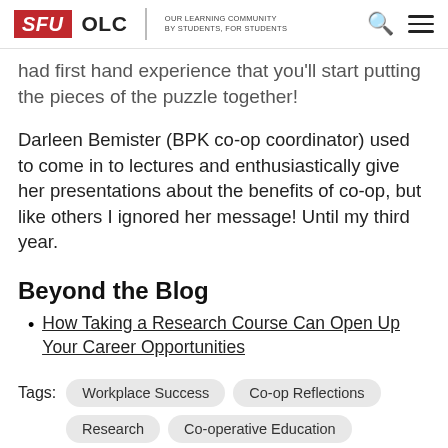SFU OLC | OUR LEARNING COMMUNITY BY STUDENTS, FOR STUDENTS
had first hand experience that you'll start putting the pieces of the puzzle together!
Darleen Bemister (BPK co-op coordinator) used to come in to lectures and enthusiastically give her presentations about the benefits of co-op, but like others I ignored her message! Until my third year.
Beyond the Blog
How Taking a Research Course Can Open Up Your Career Opportunities
Tags: Workplace Success  Co-op Reflections
Research  Co-operative Education